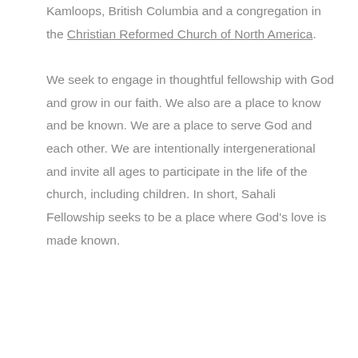Kamloops, British Columbia and a congregation in the Christian Reformed Church of North America. We seek to engage in thoughtful fellowship with God and grow in our faith. We also are a place to know and be known. We are a place to serve God and each other. We are intentionally intergenerational and invite all ages to participate in the life of the church, including children. In short, Sahali Fellowship seeks to be a place where God's love is made known.